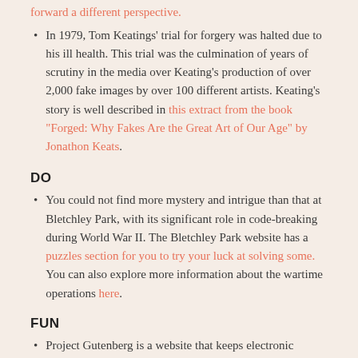forward a different perspective.
In 1979, Tom Keatings' trial for forgery was halted due to his ill health. This trial was the culmination of years of scrutiny in the media over Keating's production of over 2,000 fake images by over 100 different artists. Keating's story is well described in this extract from the book "Forged: Why Fakes Are the Great Art of Our Age" by Jonathon Keats.
DO
You could not find more mystery and intrigue than that at Bletchley Park, with its significant role in code-breaking during World War II. The Bletchley Park website has a puzzles section for you to try your luck at solving some. You can also explore more information about the wartime operations here.
FUN
Project Gutenberg is a website that keeps electronic